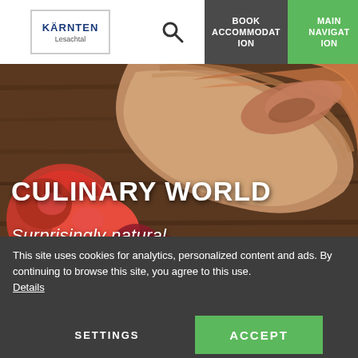KÄRNTEN Lesachtal — BOOK ACCOMMODATION — MAIN NAVIGATION
[Figure (photo): Food photography showing sliced cured ham/meat rolls and red bell peppers on a wooden surface]
CULINARY WORLD
Surprisingly natural
This site uses cookies for analytics, personalized content and ads. By continuing to browse this site, you agree to this use.
Details
SETTINGS
ACCEPT